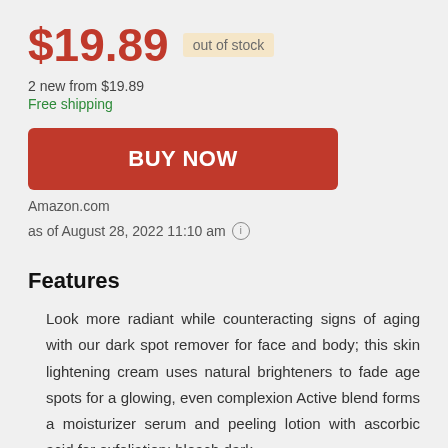$19.89 out of stock
2 new from $19.89
Free shipping
BUY NOW
Amazon.com
as of August 28, 2022 11:10 am
Features
Look more radiant while counteracting signs of aging with our dark spot remover for face and body; this skin lightening cream uses natural brighteners to fade age spots for a glowing, even complexion Active blend forms a moisturizer serum and peeling lotion with ascorbic acid for exfoliation; bleach dark